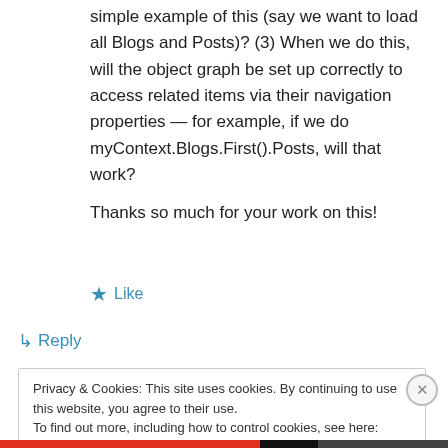simple example of this (say we want to load all Blogs and Posts)? (3) When we do this, will the object graph be set up correctly to access related items via their navigation properties — for example, if we do myContext.Blogs.First().Posts, will that work?
Thanks so much for your work on this!
★ Like
↳ Reply
Privacy & Cookies: This site uses cookies. By continuing to use this website, you agree to their use.
To find out more, including how to control cookies, see here: Cookie Policy
Close and accept